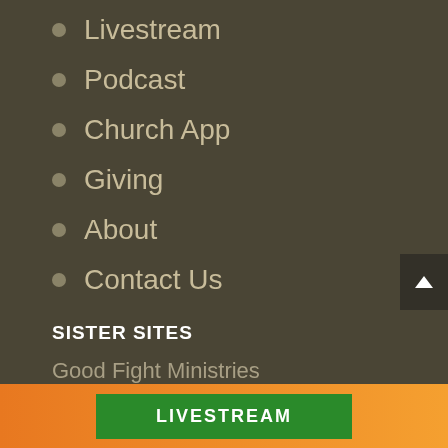Livestream
Podcast
Church App
Giving
About
Contact Us
SISTER SITES
Good Fight Ministries
Good Fight Radio Network
Good Fight Radio Show
LIVESTREAM